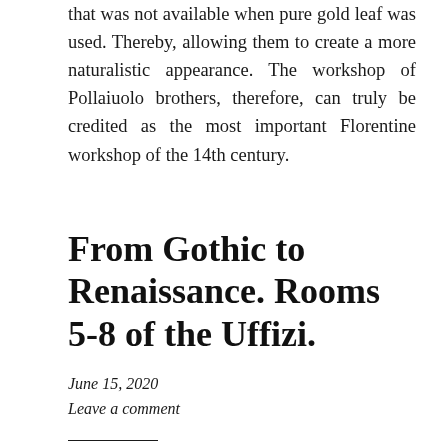that was not available when pure gold leaf was used. Thereby, allowing them to create a more naturalistic appearance. The workshop of Pollaiuolo brothers, therefore, can truly be credited as the most important Florentine workshop of the 14th century.
From Gothic to Renaissance. Rooms 5-8 of the Uffizi.
June 15, 2020
Leave a comment